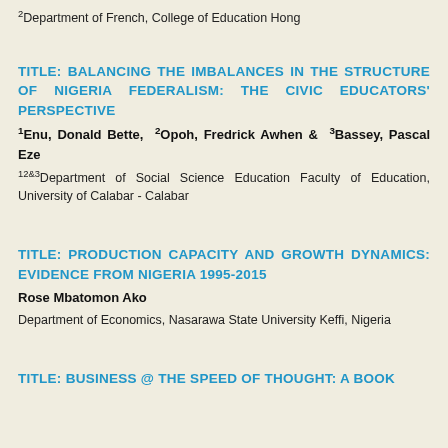2Department of French, College of Education Hong
TITLE: BALANCING THE IMBALANCES IN THE STRUCTURE OF NIGERIA FEDERALISM: THE CIVIC EDUCATORS' PERSPECTIVE
1Enu, Donald Bette, 2Opoh, Fredrick Awhen & 3Bassey, Pascal Eze
12&3Department of Social Science Education Faculty of Education, University of Calabar - Calabar
TITLE: PRODUCTION CAPACITY AND GROWTH DYNAMICS: EVIDENCE FROM NIGERIA 1995-2015
Rose Mbatomon Ako
Department of Economics, Nasarawa State University Keffi, Nigeria
TITLE: BUSINESS @ THE SPEED OF THOUGHT: A BOOK